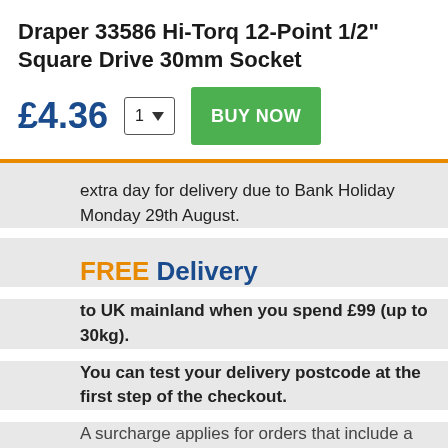Draper 33586 Hi-Torq 12-Point 1/2" Square Drive 30mm Socket
£4.36
extra day for delivery due to Bank Holiday Monday 29th August.
FREE Delivery
to UK mainland when you spend £99 (up to 30kg).
You can test your delivery postcode at the first step of the checkout.
A surcharge applies for orders that include a 'bulky item'/where the total weight is over 30kg. All bulky items will be highlighted if